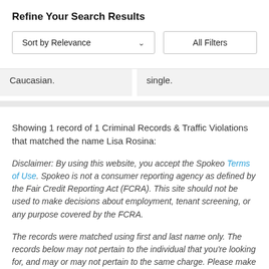Refine Your Search Results
Sort by Relevance   All Filters
Caucasian.
single.
Showing 1 record of 1 Criminal Records & Traffic Violations that matched the name Lisa Rosina:
Disclaimer: By using this website, you accept the Spokeo Terms of Use. Spokeo is not a consumer reporting agency as defined by the Fair Credit Reporting Act (FCRA). This site should not be used to make decisions about employment, tenant screening, or any purpose covered by the FCRA.
The records were matched using first and last name only. The records below may not pertain to the individual that you're looking for, and may or may not pertain to the same charge. Please make your own determination of the relevance of these court records.